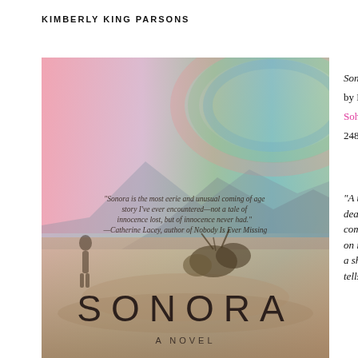KIMBERLY KING PARSONS
[Figure (photo): Book cover of 'Sonora: A Novel' with a dreamy, colorful desert landscape background (pink, teal, green hues) featuring mountains, desert brush, and a silhouetted figure. A blurb from Catherine Lacey reads: 'Sonora is the most eerie and unusual coming of age story I've ever encountered—not a tale of innocence lost, but of innocence never had.' Title 'SONORA' appears in large letters at the bottom with 'A NOVEL' below it.]
Sonora
by Hannah
Soho Press
248 pp / $16
"A taste f... death is th... comes to ... on its feet... a shape a... tells us no...